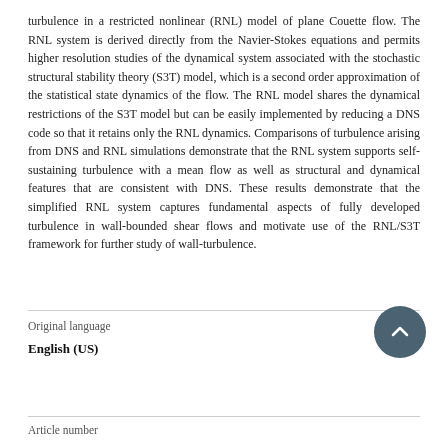turbulence in a restricted nonlinear (RNL) model of plane Couette flow. The RNL system is derived directly from the Navier-Stokes equations and permits higher resolution studies of the dynamical system associated with the stochastic structural stability theory (S3T) model, which is a second order approximation of the statistical state dynamics of the flow. The RNL model shares the dynamical restrictions of the S3T model but can be easily implemented by reducing a DNS code so that it retains only the RNL dynamics. Comparisons of turbulence arising from DNS and RNL simulations demonstrate that the RNL system supports self-sustaining turbulence with a mean flow as well as structural and dynamical features that are consistent with DNS. These results demonstrate that the simplified RNL system captures fundamental aspects of fully developed turbulence in wall-bounded shear flows and motivate use of the RNL/S3T framework for further study of wall-turbulence.
Original language
English (US)
Article number